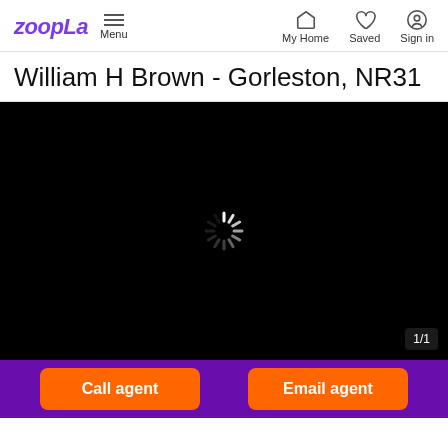Zoopla | Menu | My Home | Saved | Sign in
William H Brown - Gorleston, NR31
[Figure (screenshot): Black image area with a loading spinner (white spokes) centered, and a '1/1' counter badge in the bottom-right corner.]
Call agent | Email agent